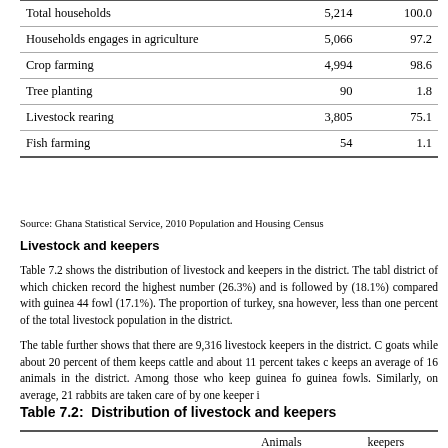|  | Number | Percent |
| --- | --- | --- |
| Total households | 5,214 | 100.0 |
| Households engages in agriculture | 5,066 | 97.2 |
| Crop farming | 4,994 | 98.6 |
| Tree planting | 90 | 1.8 |
| Livestock rearing | 3,805 | 75.1 |
| Fish farming | 54 | 1.1 |
Source: Ghana Statistical Service, 2010 Population and Housing Census
Livestock and keepers
Table 7.2 shows the distribution of livestock and keepers in the district. The table shows that chicken record the highest number (26.3%) and is followed by (18.1%) compared with guinea 44 fowl (17.1%). The proportion of turkey, snails however, less than one percent of the total livestock population in the district.
The table further shows that there are 9,316 livestock keepers in the district. goats while about 20 percent of them keeps cattle and about 11 percent takes keeps an average of 16 animals in the district. Among those who keep guinea guinea fowls. Similarly, on average, 21 rabbits are taken care of by one keeper in
Table 7.2: Distribution of livestock and keepers
|  | Animals | keepers |
| --- | --- | --- |